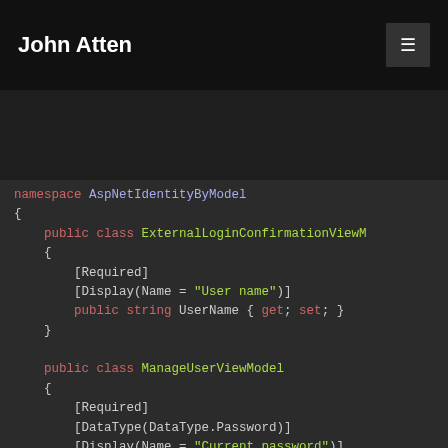John Atten
[Figure (screenshot): Code screenshot showing C# ViewModel classes with syntax highlighting on dark background. Shows ExternalLoginConfirmationViewModel with [Required] and [Display(Name = 'User name')] attributes on UserName property, and ManageUserViewModel with [Required], [DataType(DataType.Password)], [Display(Name = 'Current password')] on OldPassword property, and [Required], [StringLength(100, ErrorMessage = 'The')], [DataType(DataType.Password)], [Display(Name = 'New password')] on NewPassword property.]